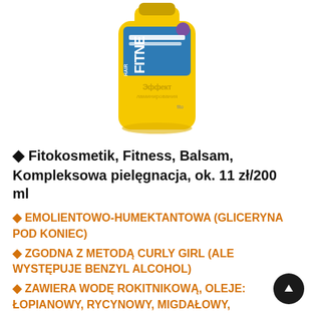[Figure (photo): Hair Fitness balsam product bottle by Fitokosmetik, yellow bottle with blue label showing Russian text, on white background]
◆ Fitokosmetik, Fitness, Balsam, Kompleksowa pielęgnacja, ok. 11 zł/200 ml
◆ EMOLIENTOWO-HUMEKTANTOWA (GLICERYNA POD KONIEC)
◆ ZGODNA Z METODĄ CURLY GIRL (ALE WYSTĘPUJE BENZYL ALCOHOL)
◆ ZAWIERA WODĘ ROKITNIKOWĄ, OLEJE: ŁOPIANOWY, RYCYNOWY, MIGDAŁOWY,